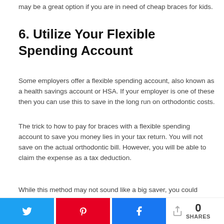may be a great option if you are in need of cheap braces for kids.
6. Utilize Your Flexible Spending Account
Some employers offer a flexible spending account, also known as a health savings account or HSA. If your employer is one of these then you can use this to save in the long run on orthodontic costs.
The trick to how to pay for braces with a flexible spending account to save you money lies in your tax return. You will not save on the actual orthodontic bill. However, you will be able to claim the expense as a tax deduction.
While this method may not sound like a big saver, you could
0 SHARES